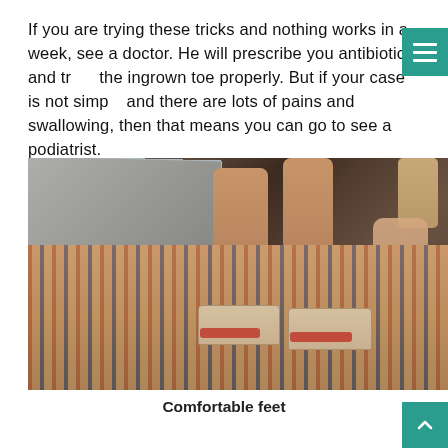If you are trying these tricks and nothing works in a week, see a doctor. He will prescribe you antibiotics and treat the ingrown toe properly. But if your case is not simple and there are lots of pains and swallowing, then that means you can go to see a podiatrist.
[Figure (photo): A person wearing beige/cream sandals with red toenails, standing on a colorful patterned rug next to a glass table. The image shows the person's legs and feet from roughly the knees down, with one hand reaching down toward the sandal.]
Comfortable feet